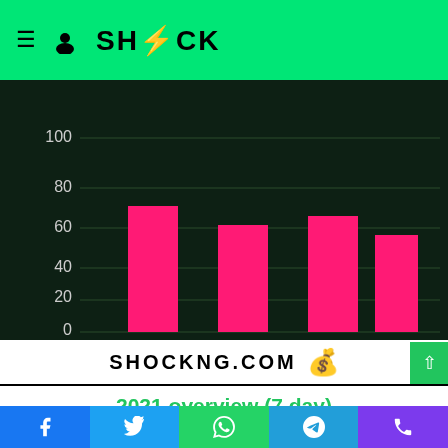SHOCK
[Figure (bar-chart): 2020 weekly box office]
SHOCKNG.COM
2021 overview (7 day)
The backend of 2021 was marred with an exhibition disaster. But that did not stop Ombghetto the saga from claiming box office